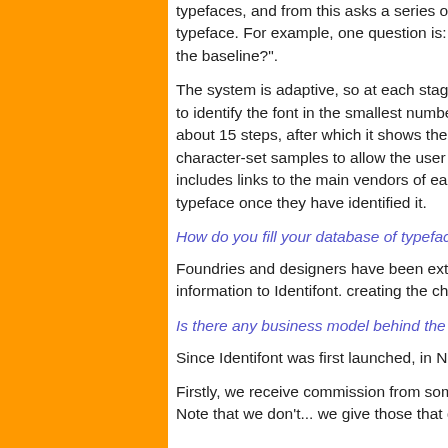typefaces, and from this asks a series of questions about key features of the typeface. For example, one question is: "Does the upper-case J descend below the baseline?".
The system is adaptive, so at each stage the sequence of questions is chosen to identify the font in the smallest number of steps. A typical identification takes about 15 steps, after which it shows the matching font or fonts, together with character-set samples to allow the user to check the answers. Identifont also includes links to the main vendors of each typeface, so the user can order the typeface once they have identified it.
How do you fill your database of typefaces ?
Foundries and designers have been extremely su... use by us in adding the information to Identifont. creating the character-set GIF sample images ou...
Is there any business model behind the site or it's...
Since Identifont was first launched, in November... expansion in two main ways.
Firstly, we receive commission from some of the... from referrals from Identifont. Note that we don't... we give those that do a higher ranking in the list.